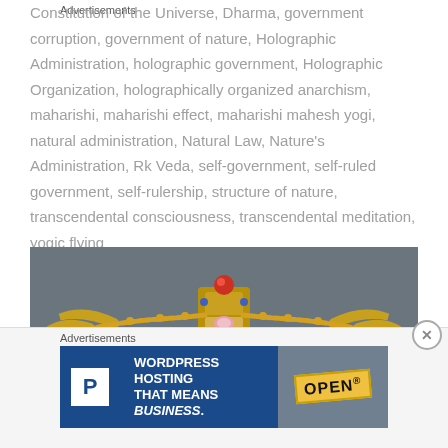Constitution of the Universe, Dharma, government corruption, government of nature, Holographic Administration, holographic government, Holographic Organization, holographically organized anarchism, maharishi, maharishi effect, maharishi mahesh yogi, natural administration, Natural Law, Nature's Administration, Rk Veda, self-government, self-ruled government, self-rulership, structure of nature, transcendental consciousness, transcendental meditation, yogic flying
[Figure (photo): Close-up photograph of an ornate golden crown with jeweled decorations, photographed against a dark grey background with purple velvet visible below.]
Advertisements
[Figure (screenshot): Advertisement banner for WordPress hosting service reading 'WORDPRESS HOSTING THAT MEANS BUSINESS.' with a P logo and an OPEN sign image.]